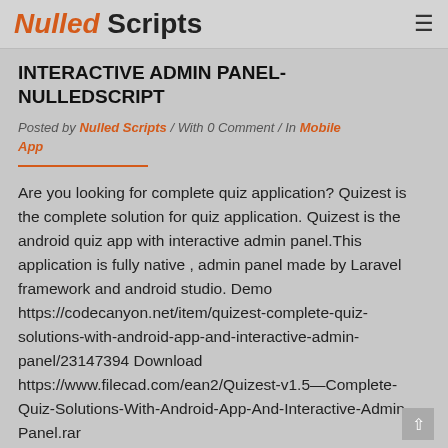Nulled Scripts
INTERACTIVE ADMIN PANEL- NULLEDSCRIPT
Posted by Nulled Scripts / With 0 Comment / In Mobile App
Are you looking for complete quiz application? Quizest is the complete solution for quiz application. Quizest is the android quiz app with interactive admin panel.This application is fully native , admin panel made by Laravel framework and android studio. Demo https://codecanyon.net/item/quizest-complete-quiz-solutions-with-android-app-and-interactive-admin-panel/23147394 Download https://www.filecad.com/ean2/Quizest-v1.5—Complete-Quiz-Solutions-With-Android-App-And-Interactive-Admin-Panel.rar